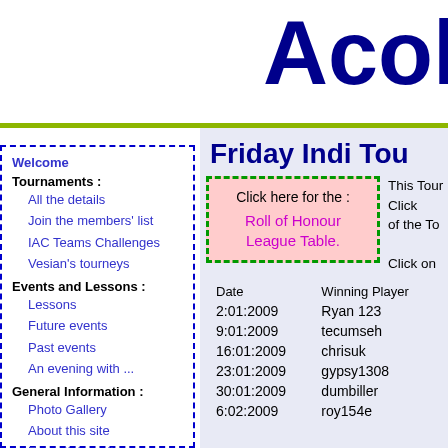Acol
Friday Indi Tou
Welcome
Tournaments :
All the details
Join the members' list
IAC Teams Challenges
Vesian's tourneys
Events and Lessons :
Lessons
Future events
Past events
An evening with ...
General Information :
Photo Gallery
About this site
Essential reading
World clocks
Howto ... ...
[Figure (other): Click here for the Roll of Honour League Table box with green dashed border and pink background]
This Tour Click of the To Click on
| Date | Winning Player |
| --- | --- |
| 2:01:2009 | Ryan 123 |
| 9:01:2009 | tecumseh |
| 16:01:2009 | chrisuk |
| 23:01:2009 | gypsy1308 |
| 30:01:2009 | dumbiller |
| 6:02:2009 | roy154e |